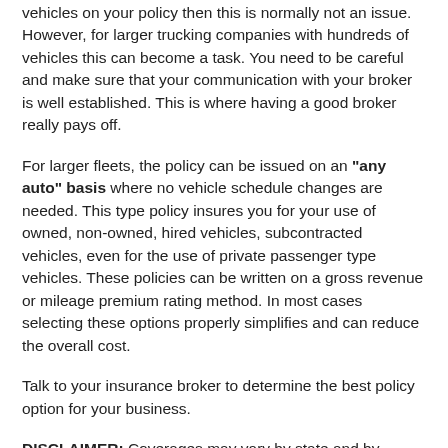vehicles on your policy then this is normally not an issue. However, for larger trucking companies with hundreds of vehicles this can become a task. You need to be careful and make sure that your communication with your broker is well established. This is where having a good broker really pays off.
For larger fleets, the policy can be issued on an “any auto” basis where no vehicle schedule changes are needed. This type policy insures you for your use of owned, non-owned, hired vehicles, subcontracted vehicles, even for the use of private passenger type vehicles. These policies can be written on a gross revenue or mileage premium rating method. In most cases selecting these options properly simplifies and can reduce the overall cost.
Talk to your insurance broker to determine the best policy option for your business.
DISCLAIMER: Coverages may vary by state and by insured business. Consult your agent about coverages you